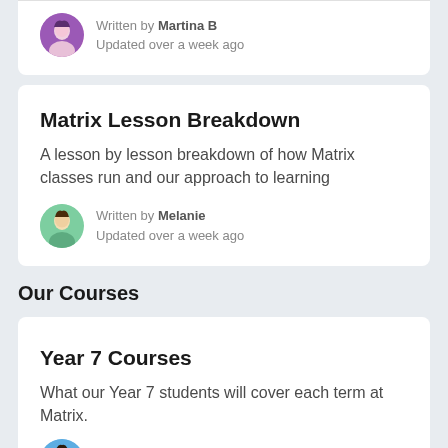Written by Martina B
Updated over a week ago
Matrix Lesson Breakdown
A lesson by lesson breakdown of how Matrix classes run and our approach to learning
Written by Melanie
Updated over a week ago
Our Courses
Year 7 Courses
What our Year 7 students will cover each term at Matrix.